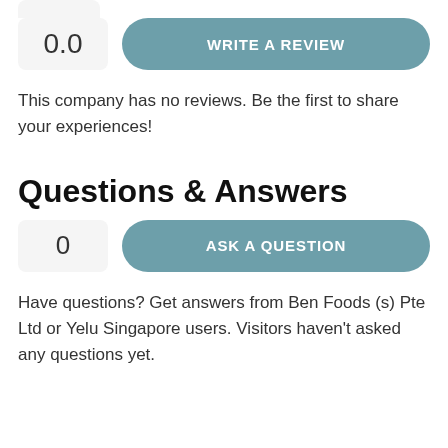0.0
WRITE A REVIEW
This company has no reviews. Be the first to share your experiences!
Questions & Answers
0
ASK A QUESTION
Have questions? Get answers from Ben Foods (s) Pte Ltd or Yelu Singapore users. Visitors haven't asked any questions yet.